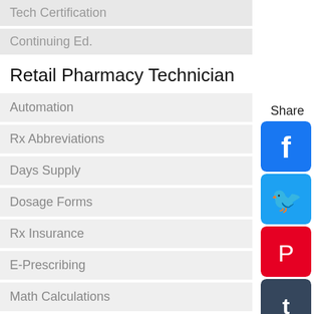Tech Certification
Continuing Ed.
Retail Pharmacy Technician
Automation
Rx Abbreviations
Days Supply
Dosage Forms
Rx Insurance
E-Prescribing
Math Calculations
HIPAA
Forgeries
Share